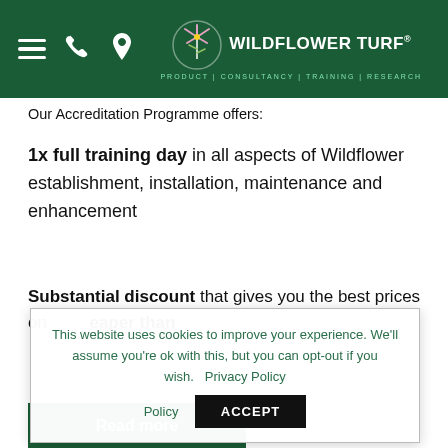[Figure (logo): Wildflower Turf logo with navigation icons (hamburger menu, phone, location pin) on dark green header background. Logo shows stylized wildflower plant with text WILDFLOWER TURF and tagline PRODUCT | CONSULTANCY | TRAINING | RESEARCH]
Our Accreditation Programme offers:
1x full training day in all aspects of Wildflower establishment, installation, maintenance and enhancement
Substantial discount that gives you the best prices on [obscured] eaper than
This website uses cookies to improve your experience. We'll assume you're ok with this, but you can opt-out if you wish. Privacy Policy ACCEPT
Read more